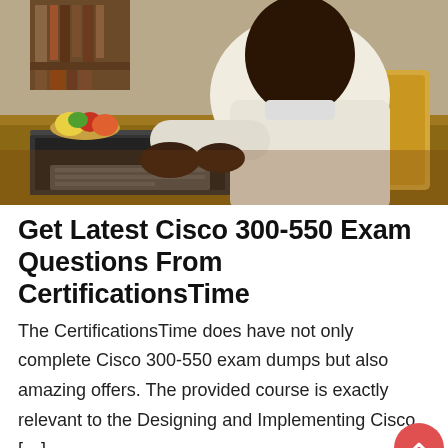[Figure (photo): A Black man in a white long-sleeve shirt sitting at a wooden table using a laptop computer, photographed from above/side angle with a blurred background showing a bookshelf and food items on the table.]
Get Latest Cisco 300-550 Exam Questions From CertificationsTime
The CertificationsTime does have not only complete Cisco 300-550 exam dumps but also amazing offers. The provided course is exactly relevant to the Designing and Implementing Cisco […]